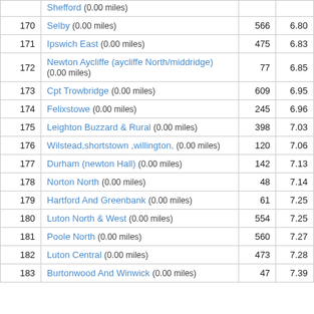| # | Location | Count | Score |
| --- | --- | --- | --- |
|  | Shefford (0.00 miles) |  |  |
| 170 | Selby (0.00 miles) | 566 | 6.80 |
| 171 | Ipswich East (0.00 miles) | 475 | 6.83 |
| 172 | Newton Aycliffe (aycliffe North/middridge) (0.00 miles) | 77 | 6.85 |
| 173 | Cpt Trowbridge (0.00 miles) | 609 | 6.95 |
| 174 | Felixstowe (0.00 miles) | 245 | 6.96 |
| 175 | Leighton Buzzard & Rural (0.00 miles) | 398 | 7.03 |
| 176 | Wilstead,shortstown ,willington, (0.00 miles) | 120 | 7.06 |
| 177 | Durham (newton Hall) (0.00 miles) | 142 | 7.13 |
| 178 | Norton North (0.00 miles) | 48 | 7.14 |
| 179 | Hartford And Greenbank (0.00 miles) | 61 | 7.25 |
| 180 | Luton North & West (0.00 miles) | 554 | 7.25 |
| 181 | Poole North (0.00 miles) | 560 | 7.27 |
| 182 | Luton Central (0.00 miles) | 473 | 7.28 |
| 183 | Burtonwood And Winwick (0.00 miles) | 47 | 7.39 |